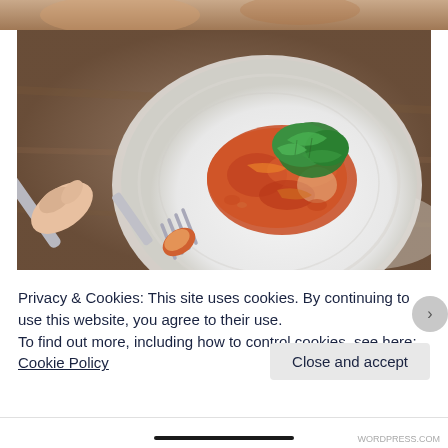[Figure (photo): Top strip showing a partial background image, brownish/warm tones]
[Figure (photo): A hand holding a fork picking up food (orange/red tomato-based dish with green herbs/parsley) on a white plate, viewed from above on a wooden table]
Privacy & Cookies: This site uses cookies. By continuing to use this website, you agree to their use.
To find out more, including how to control cookies, see here: Cookie Policy
Close and accept